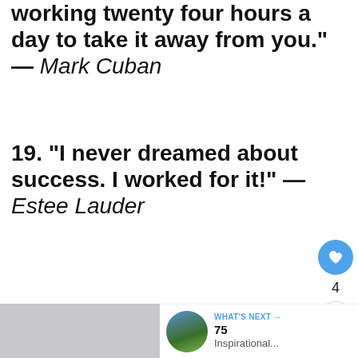working twenty four hours a day to take it away from you." — Mark Cuban
19. "I never dreamed about success. I worked for it!" — Estee Lauder
[Figure (screenshot): Social interaction buttons: heart/like button (blue circle with heart icon), count of 4, and a share button (circle with share icon)]
[Figure (screenshot): What's Next banner with thumbnail image of a stadium/field, label 'WHAT'S NEXT ->', title '75 Inspirational...']